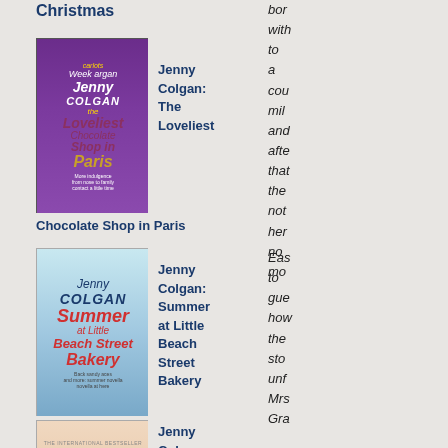Christmas
bor
with
to
a
cou
mil
and
afte
that
the
not
her
no
mo
[Figure (illustration): Book cover: Jenny Colgan - The Loveliest Chocolate Shop in Paris, purple cover with Eiffel Tower]
Jenny Colgan: The Loveliest
Chocolate Shop in Paris
[Figure (illustration): Book cover: Jenny Colgan - Summer at Little Beach Street Bakery, blue and white seaside cover]
Jenny Colgan: Summer at Little Beach Street Bakery
Eas
to
gue
how
the
sto
unf
Mrs
Gra
[Figure (illustration): Book cover: Jenny Colgan - Little Beach Street Bakery, peach/beige cover]
Jenny Colgan: Little